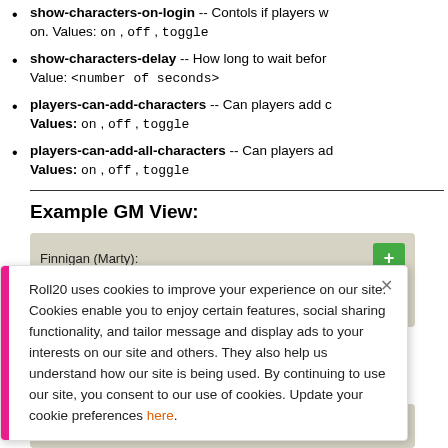show-characters-on-login -- Contols if players w... on. Values: on, off, toggle
show-characters-delay -- How long to wait befor... Value: <number of seconds>
players-can-add-characters -- Can players add c... Values: on, off, toggle
players-can-add-all-characters -- Can players ad... Values: on, off, toggle
Example GM View:
[Figure (screenshot): GM view panel showing Finnigan (Marty) with a + button and Finnigan Diastiúir character with Open button]
Roll20 uses cookies to improve your experience on our site. Cookies enable you to enjoy certain features, social sharing functionality, and tailor message and display ads to your interests on our site and others. They also help us understand how our site is being used. By continuing to use our site, you consent to our use of cookies. Update your cookie preferences here.
[Figure (screenshot): Bottom GM view panel showing Pepperton (Stephen) with a + button]